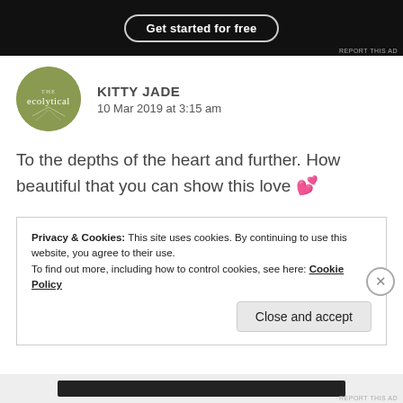[Figure (screenshot): Dark ad banner with 'Get started for free' button and 'REPORT THIS AD' text]
KITTY JADE
10 Mar 2019 at 3:15 am
To the depths of the heart and further. How beautiful that you can show this love 💕
★ Liked by 2 people
Privacy & Cookies: This site uses cookies. By continuing to use this website, you agree to their use.
To find out more, including how to control cookies, see here: Cookie Policy
Close and accept